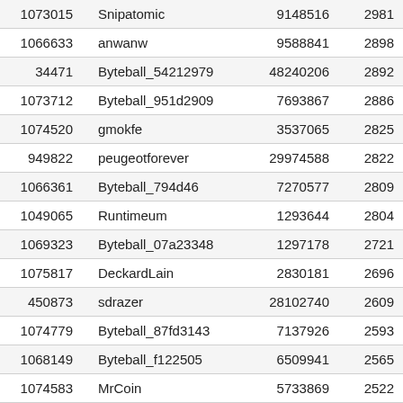| 1073015 | Snipatomic | 9148516 | 2981… |
| 1066633 | anwanw | 9588841 | 2898… |
| 34471 | Byteball_54212979 | 48240206 | 2892… |
| 1073712 | Byteball_951d2909 | 7693867 | 2886… |
| 1074520 | gmokfe | 3537065 | 2825… |
| 949822 | peugeotforever | 29974588 | 2822… |
| 1066361 | Byteball_794d46 | 7270577 | 2809… |
| 1049065 | Runtimeum | 1293644 | 2804… |
| 1069323 | Byteball_07a23348 | 1297178 | 2721… |
| 1075817 | DeckardLain | 2830181 | 2696… |
| 450873 | sdrazer | 28102740 | 2609… |
| 1074779 | Byteball_87fd3143 | 7137926 | 2593… |
| 1068149 | Byteball_f122505 | 6509941 | 2565… |
| 1074583 | MrCoin | 5733869 | 2522… |
| 1072472 | Mario Plichta | 6770516 | 2452… |
| 992960 | Larfy Hu | 5654566 | 2380… |